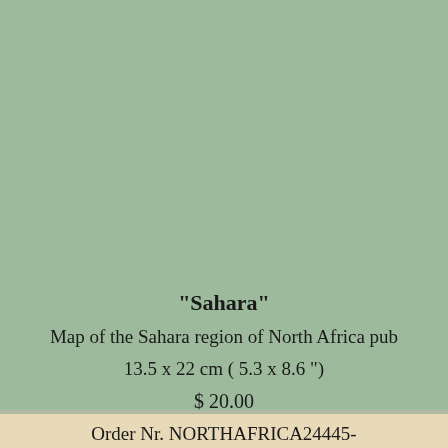"Sahara"
Map of the Sahara region of North Africa pub
13.5 x 22 cm ( 5.3 x 8.6 ")
$ 20.00
Order Nr. NORTHAFRICA24445-